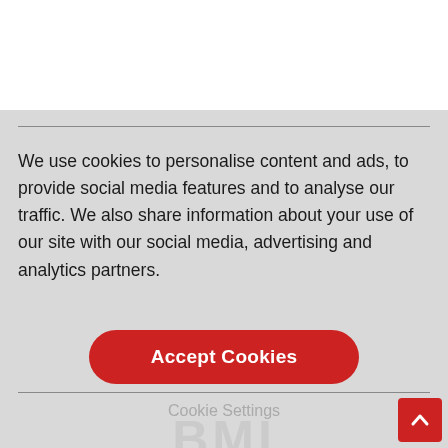[Figure (logo): BMI brand logo with red letters and grey arc above]
[Figure (other): Shopping cart icon in grey circle with badge showing 0]
[Figure (other): Hamburger menu icon with X close button]
Cookies
We use cookies to personalise content and ads, to provide social media features and to analyse our traffic. We also share information about your use of our site with our social media, advertising and analytics partners.
Accept Cookies
Cookie Settings
[Figure (logo): BMI watermark text in grey at the bottom of the page]
[Figure (other): Red scroll-to-top button with upward arrow in bottom right corner]